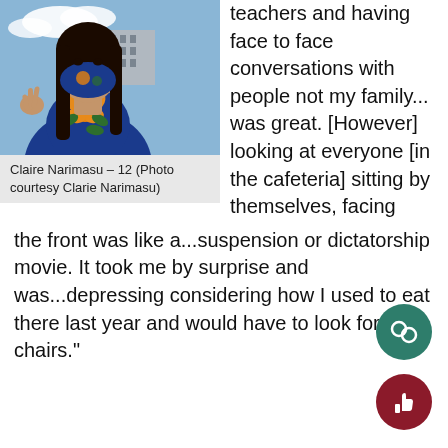[Figure (photo): Young woman wearing a floral face mask outdoors with a building and sky in the background, making a peace sign.]
Claire Narimasu – 12 (Photo courtesy Clarie Narimasu)
teachers and having face to face conversations with people not my family... was great. [However] looking at everyone [in the cafeteria] sitting by themselves, facing the front was like a...suspension or dictatorship movie. It took me by surprise and was...depressing considering how I used to eat there last year and would have to look for chairs."